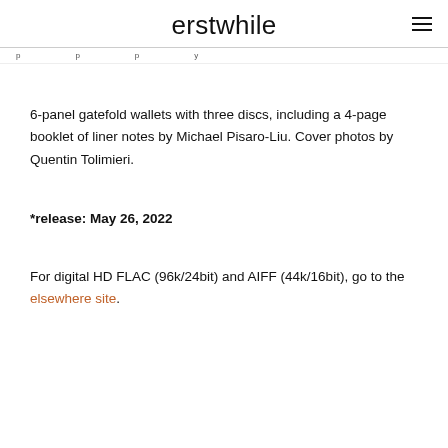erstwhile
6-panel gatefold wallets with three discs, including a 4-page booklet of liner notes by Michael Pisaro-Liu. Cover photos by Quentin Tolimieri.
*release: May 26, 2022
For digital HD FLAC (96k/24bit) and AIFF (44k/16bit), go to the elsewhere site.